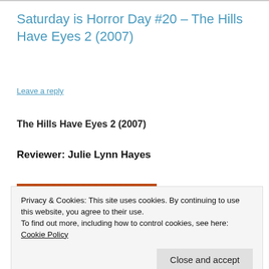Saturday is Horror Day #20 – The Hills Have Eyes 2 (2007)
Leave a reply
The Hills Have Eyes 2 (2007)
Reviewer: Julie Lynn Hayes
[Figure (photo): Movie image showing a sunset/orange sky with a silhouette]
Privacy & Cookies: This site uses cookies. By continuing to use this website, you agree to their use.
To find out more, including how to control cookies, see here: Cookie Policy
Close and accept